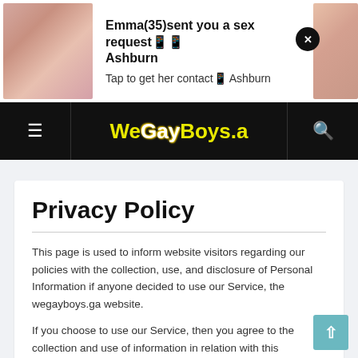[Figure (screenshot): Advertisement banner with photo of a woman on the left, bold text 'Emma(35)sent you a sex request📱📱 Ashburn' and subtext 'Tap to get her contact📱 Ashburn', a close X button, and a partial photo on the right]
WeGayBoys.ga navigation bar with hamburger menu on left, logo in center, search icon on right
Privacy Policy
This page is used to inform website visitors regarding our policies with the collection, use, and disclosure of Personal Information if anyone decided to use our Service, the wegayboys.ga website.
If you choose to use our Service, then you agree to the collection and use of information in relation with this